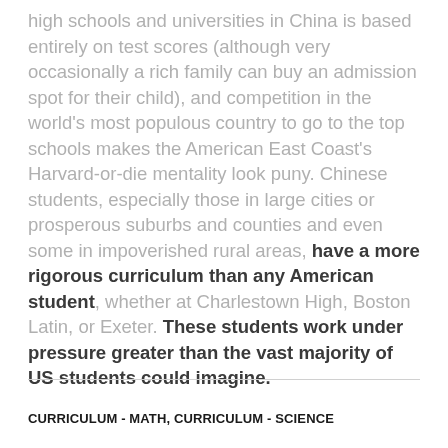high schools and universities in China is based entirely on test scores (although very occasionally a rich family can buy an admission spot for their child), and competition in the world's most populous country to go to the top schools makes the American East Coast's Harvard-or-die mentality look puny. Chinese students, especially those in large cities or prosperous suburbs and counties and even some in impoverished rural areas, have a more rigorous curriculum than any American student, whether at Charlestown High, Boston Latin, or Exeter. These students work under pressure greater than the vast majority of US students could imagine.
CURRICULUM - MATH, CURRICULUM - SCIENCE